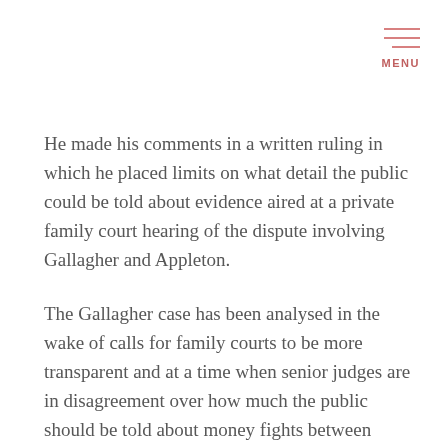MENU
He made his comments in a written ruling in which he placed limits on what detail the public could be told about evidence aired at a private family court hearing of the dispute involving Gallagher and Appleton.
The Gallagher case has been analysed in the wake of calls for family courts to be more transparent and at a time when senior judges are in disagreement over how much the public should be told about money fights between separated couples.
Family court hearings are usually staged in private, with members of the public barred.